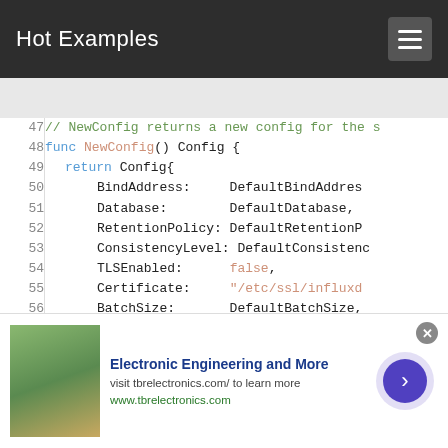Hot Examples
[Figure (screenshot): Code viewer showing Go source code for NewConfig() function, lines 47-60, with syntax highlighting. Line 58 (BatchTimeout) is highlighted in green.]
[Figure (infographic): Advertisement banner: Electronic Engineering and More, visit tbrelectronics.com/ to learn more, www.tbrelectronics.com]